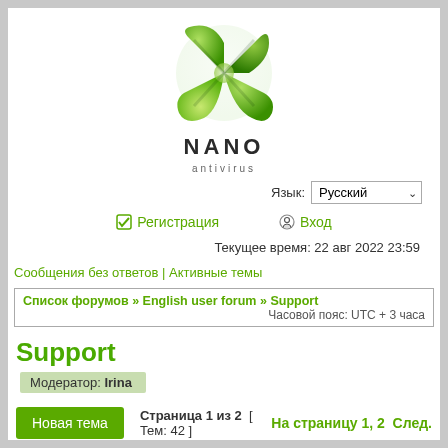[Figure (logo): NANO Antivirus logo — green X-shaped shield icon above the text NANO antivirus]
Язык: Русский
☑ Регистрация  🔒 Вход
Текущее время: 22 авг 2022 23:59
Сообщения без ответов | Активные темы
Список форумов » English user forum » Support
Часовой пояс: UTC + 3 часа
Support
Модератор: Irina
Страница 1 из 2  [ Тем: 42 ]   На страницу 1, 2  След.
| Темы | Автор | Ответы | Просмотры |
| --- | --- | --- | --- |